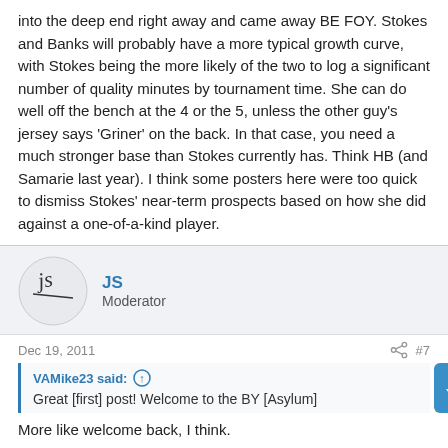into the deep end right away and came away BE FOY. Stokes and Banks will probably have a more typical growth curve, with Stokes being the more likely of the two to log a significant number of quality minutes by tournament time. She can do well off the bench at the 4 or the 5, unless the other guy's jersey says 'Griner' on the back. In that case, you need a much stronger base than Stokes currently has. Think HB (and Samarie last year). I think some posters here were too quick to dismiss Stokes' near-term prospects based on how she did against a one-of-a-kind player.
JS
Moderator
Dec 19, 2011
#7
VAMike23 said:
Great [first] post! Welcome to the BY [Asylum]
More like welcome back, I think.